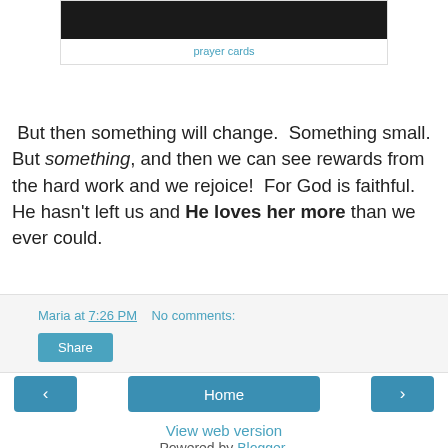[Figure (photo): Dark photograph, partially visible at top of page]
prayer cards
But then something will change. Something small. But something, and then we can see rewards from the hard work and we rejoice! For God is faithful. He hasn't left us and He loves her more than we ever could.
Maria at 7:26 PM   No comments:
Share
‹   Home   ›
View web version
Powered by Blogger.